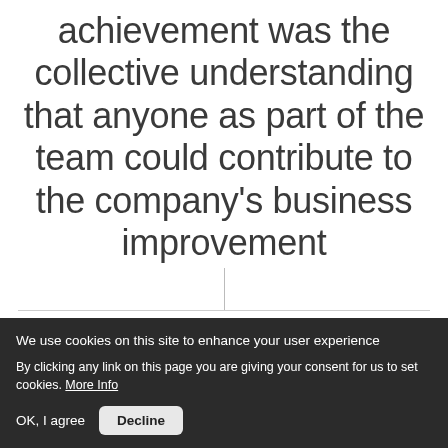achievement was the collective understanding that anyone as part of the team could contribute to the company's business improvement
We use cookies on this site to enhance your user experience
By clicking any link on this page you are giving your consent for us to set cookies. More Info
OK, I agree   Decline